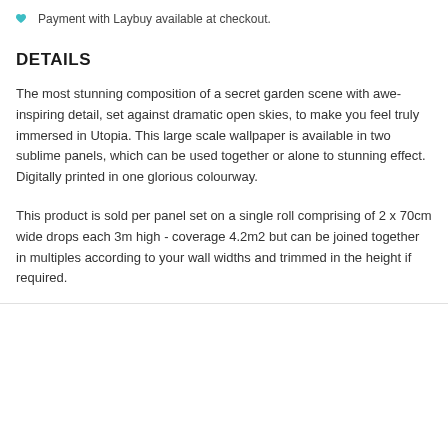Payment with Laybuy available at checkout.
DETAILS
The most stunning composition of a secret garden scene with awe-inspiring detail, set against dramatic open skies, to make you feel truly immersed in Utopia. This large scale wallpaper is available in two sublime panels, which can be used together or alone to stunning effect. Digitally printed in one glorious colourway.
This product is sold per panel set on a single roll comprising of 2 x 70cm wide drops each 3m high - coverage 4.2m2 but can be joined together in multiples according to your wall widths and trimmed in the height if required.